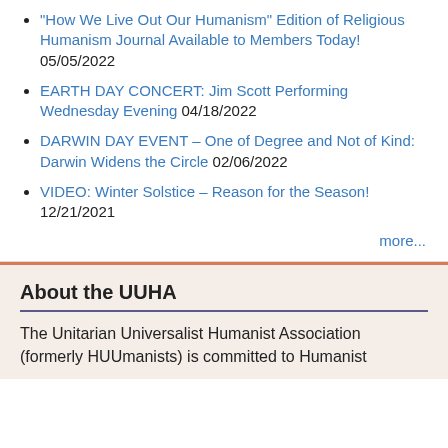"How We Live Out Our Humanism" Edition of Religious Humanism Journal Available to Members Today! 05/05/2022
EARTH DAY CONCERT: Jim Scott Performing Wednesday Evening 04/18/2022
DARWIN DAY EVENT – One of Degree and Not of Kind: Darwin Widens the Circle 02/06/2022
VIDEO: Winter Solstice – Reason for the Season! 12/21/2021
more...
About the UUHA
The Unitarian Universalist Humanist Association (formerly HUUmanists) is committed to Humanist